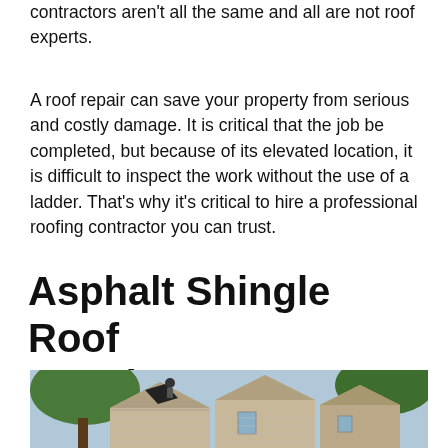contractors aren't all the same and all are not roof experts.
A roof repair can save your property from serious and costly damage. It is critical that the job be completed, but because of its elevated location, it is difficult to inspect the work without the use of a ladder. That's why it's critical to hire a professional roofing contractor you can trust.
Asphalt Shingle Roof Repair
[Figure (photo): A damaged asphalt shingle roof on a residential home with a worker visible on the roof ridge, surrounded by trees.]